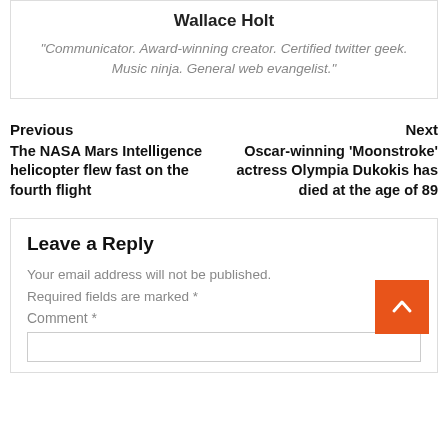Wallace Holt
"Communicator. Award-winning creator. Certified twitter geek. Music ninja. General web evangelist."
Previous
Next
The NASA Mars Intelligence helicopter flew fast on the fourth flight
Oscar-winning 'Moonstroke' actress Olympia Dukokis has died at the age of 89
Leave a Reply
Your email address will not be published.
Required fields are marked *
Comment *